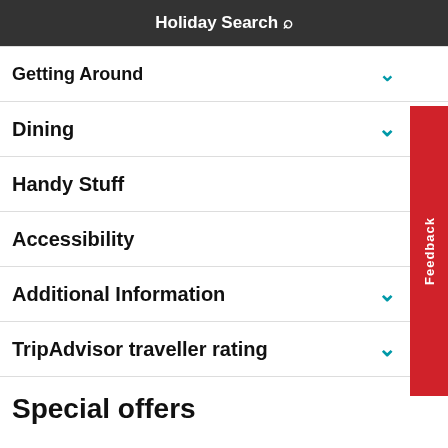Holiday Search
Getting Around
Dining
Handy Stuff
Accessibility
Additional Information
TripAdvisor traveller rating
Special offers